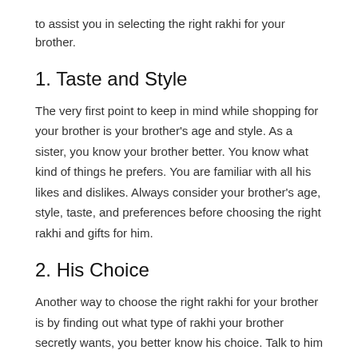to assist you in selecting the right rakhi for your brother.
1. Taste and Style
The very first point to keep in mind while shopping for your brother is your brother's age and style. As a sister, you know your brother better. You know what kind of things he prefers. You are familiar with all his likes and dislikes. Always consider your brother's age, style, taste, and preferences before choosing the right rakhi and gifts for him.
2. His Choice
Another way to choose the right rakhi for your brother is by finding out what type of rakhi your brother secretly wants, you better know his choice. Talk to him and find out what kind of rakhi he is expecting from you this year.